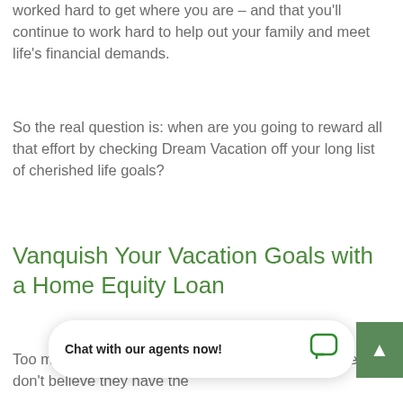worked hard to get where you are – and that you'll continue to work hard to help out your family and meet life's financial demands.
So the real question is: when are you going to reward all that effort by checking Dream Vacation off your long list of cherished life goals?
Vanquish Your Vacation Goals with a Home Equity Loan
Too many people put vacation goals aside because they don't believe they have the